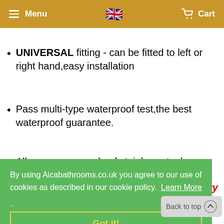Menu   [flag]   Cart
(partial text cut off at top)
UNIVERSAL fitting - can be fitted to left or right hand,easy installation
Pass multi-type waterproof test,the best waterproof guarantee.
All screws are made of stainless steel ,resistant to rust,life guarantee.
By using Aicabathrooms.co.uk you agree to our use of cookies as described in our cookie policy. Learn More
Got it!
Back to top